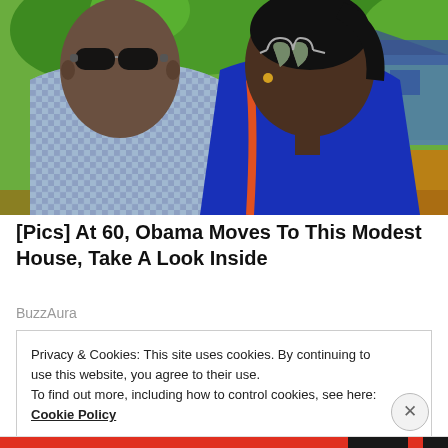[Figure (photo): Two people (a man in blue checkered shirt with dark sunglasses and a woman in blue dress with heart-shaped sunglasses) posing outdoors with green trees and a blue house in the background, orange ground visible.]
[Pics] At 60, Obama Moves To This Modest House, Take A Look Inside
BuzzAura
Privacy & Cookies: This site uses cookies. By continuing to use this website, you agree to their use.
To find out more, including how to control cookies, see here: Cookie Policy
Close and accept